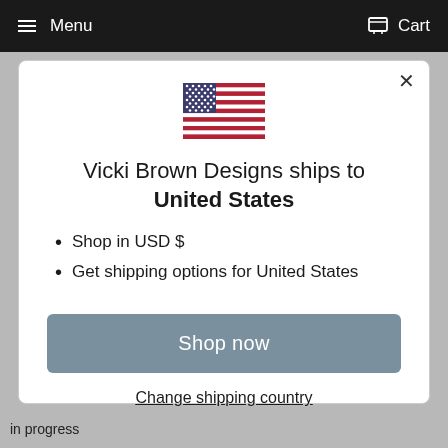Menu   Cart
[Figure (illustration): US flag emoji/icon centered in modal]
Vicki Brown Designs ships to United States
Shop in USD $
Get shipping options for United States
Shop now
Change shipping country
in progress